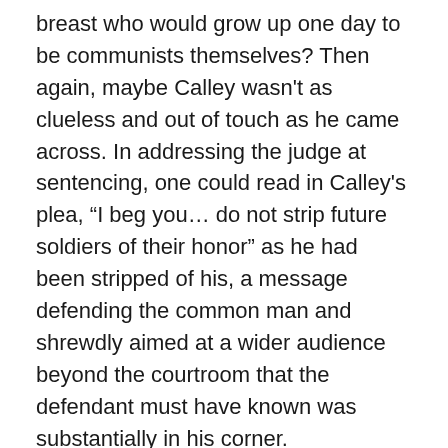breast who would grow up one day to be communists themselves? Then again, maybe Calley wasn't as clueless and out of touch as he came across. In addressing the judge at sentencing, one could read in Calley's plea, “I beg you… do not strip future soldiers of their honor” as he had been stripped of his, a message defending the common man and shrewdly aimed at a wider audience beyond the courtroom that the defendant must have known was substantially in his corner.
The polls quickly confirmed this. 79% of the public opposed the conviction. Across an ideological divide embracing both the war’s supporters and opponents, a large majority saw Calley as a scapegoat, one man custom-made to bear the blame for the entire Vietnam fiasco. Nixon played this public frustration to his advantage. There was little opposition when the President